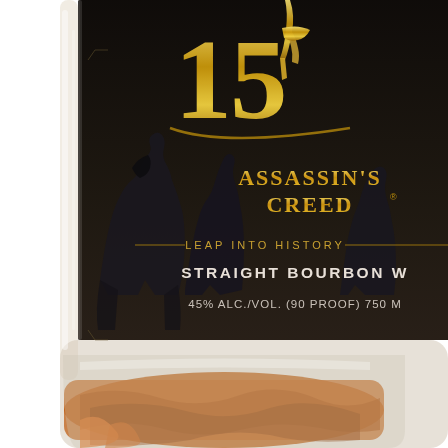[Figure (photo): Close-up photograph of a whiskey bottle with a dark label featuring the Assassin's Creed 15th anniversary branding. The label shows gold '15' numerals, silhouettes of assassin characters, gold 'ASSASSIN'S CREED' text, 'LEAP INTO HISTORY', 'STRAIGHT BOURBON W[HISKEY]', and '45% ALC./VOL. (90 PROOF) 750 M[L]'. The bottle is glass with amber/bourbon liquid visible at the bottom, photographed against a white background.]